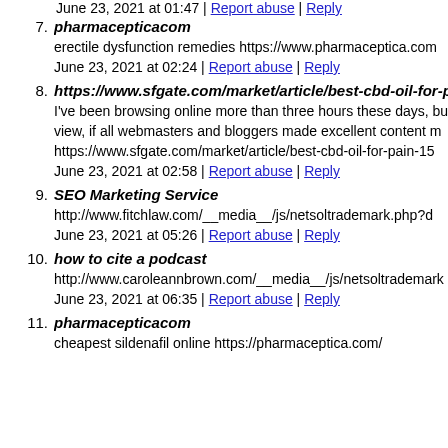June 23, 2021 at 01:47 | Report abuse | Reply
7. pharmacepticacom

erectile dysfunction remedies https://www.pharmaceptica.com

June 23, 2021 at 02:24 | Report abuse | Reply
8. https://www.sfgate.com/market/article/best-cbd-oil-for-pain-1

I've been browsing online more than three hours these days, but view, if all webmasters and bloggers made excellent content m

https://www.sfgate.com/market/article/best-cbd-oil-for-pain-15

June 23, 2021 at 02:58 | Report abuse | Reply
9. SEO Marketing Service

http://www.fitchlaw.com/__media__/js/netsoltrademark.php?d

June 23, 2021 at 05:26 | Report abuse | Reply
10. how to cite a podcast

http://www.caroleannbrown.com/__media__/js/netsoltrademark

June 23, 2021 at 06:35 | Report abuse | Reply
11. pharmacepticacom

cheapest sildenafil online https://pharmaceptica.com/